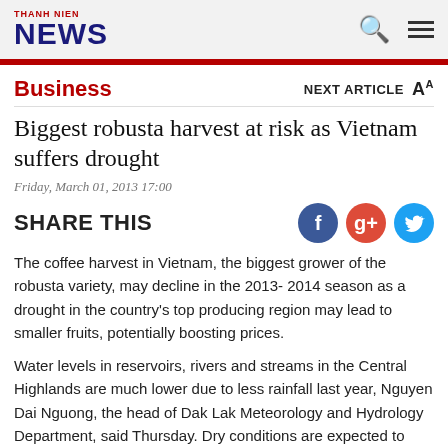THANH NIEN NEWS
Business
Biggest robusta harvest at risk as Vietnam suffers drought
Friday, March 01, 2013 17:00
SHARE THIS
The coffee harvest in Vietnam, the biggest grower of the robusta variety, may decline in the 2013- 2014 season as a drought in the country's top producing region may lead to smaller fruits, potentially boosting prices.
Water levels in reservoirs, rivers and streams in the Central Highlands are much lower due to less rainfall last year, Nguyen Dai Nguong, the head of Dak Lak Meteorology and Hydrology Department, said Thursday. Dry conditions are expected to continue this month as the probability of off-season rains is much less than in previous years, he said. The highlands cover five coffee-growing provinces, including Dak Lak, which alone